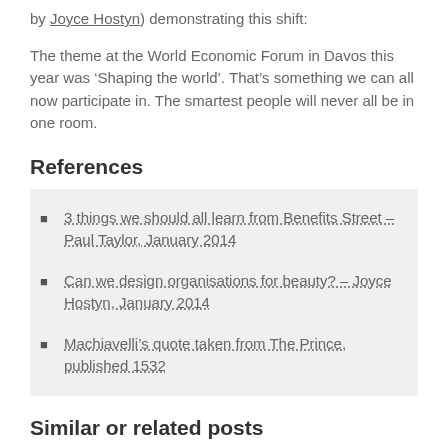by Joyce Hostyn) demonstrating this shift:
The theme at the World Economic Forum in Davos this year was ‘Shaping the world’. That’s something we can all now participate in. The smartest people will never all be in one room.
References
3 things we should all learn from Benefits Street – Paul Taylor, January 2014
Can we design organisations for beauty? – Joyce Hostyn, January 2014
Machiavelli’s quote taken from The Prince, published 1532
Similar or related posts